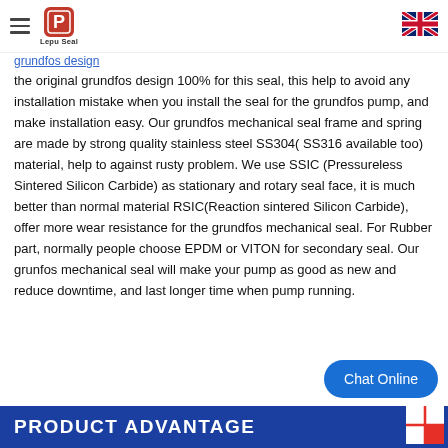Lepu Seal [logo] [hamburger menu] [UK flag]
the original grundfos design 100% for this seal, this help to avoid any installation mistake when you install the seal for the grundfos pump, and make installation easy. Our grundfos mechanical seal frame and spring are made by strong quality stainless steel SS304( SS316 available too) material, help to against rusty problem. We use SSIC (Pressureless Sintered Silicon Carbide) as stationary and rotary seal face, it is much better than normal material RSIC(Reaction sintered Silicon Carbide), offer more wear resistance for the grundfos mechanical seal. For Rubber part, normally people choose EPDM or VITON for secondary seal. Our grunfos mechanical seal will make your pump as good as new and reduce downtime, and last longer time when pump running.
PRODUCT ADVANTAGE